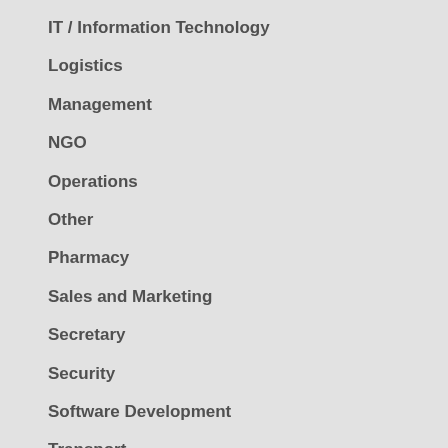IT / Information Technology
Logistics
Management
NGO
Operations
Other
Pharmacy
Sales and Marketing
Secretary
Security
Software Development
Transport